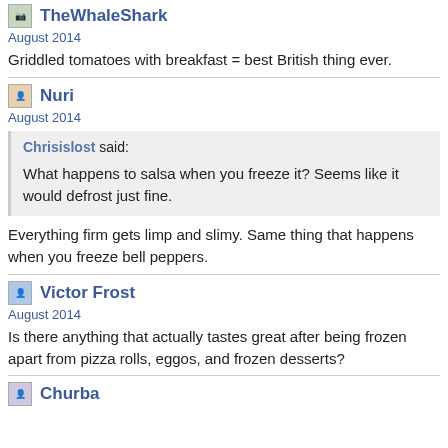TheWhaleShark
August 2014
Griddled tomatoes with breakfast = best British thing ever.
Nuri
August 2014
Chrisislost said: What happens to salsa when you freeze it? Seems like it would defrost just fine.
Everything firm gets limp and slimy. Same thing that happens when you freeze bell peppers.
Victor Frost
August 2014
Is there anything that actually tastes great after being frozen apart from pizza rolls, eggos, and frozen desserts?
Churba